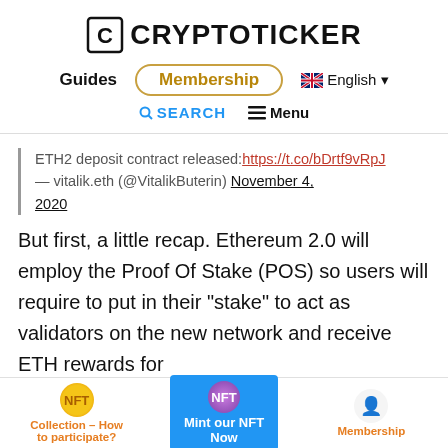CRYPTOTICKER
Guides | Membership | English
SEARCH | Menu
ETH2 deposit contract released: https://t.co/bDrtf9vRpJ — vitalik.eth (@VitalikButerin) November 4, 2020
But first, a little recap. Ethereum 2.0 will employ the Proof Of Stake (POS) so users will require to put in their "stake" to act as validators on the new network and receive ETH rewards for
Collection – How to participate? | Mint our NFT Now | Membership